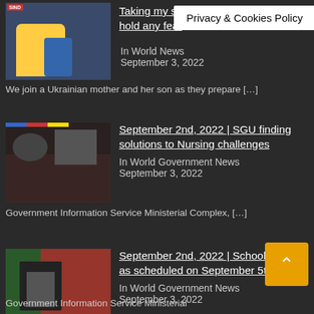Privacy & Cookies Policy
Taking my s… ow I can't hold any fear
In World News
September 3, 2022
We join a Ukrainian mother and her son as they prepare […]
September 2nd, 2022 | SGU finding solutions to Nursing challenges
In World Government News
September 3, 2022
Government Information Service Ministerial Complex, […]
September 2nd, 2022 | School reopens as scheduled on September 5th
In World Government News
September 3, 2022
Government Information Service Ministerial Complex, […]